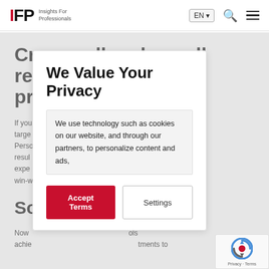IFP Insights For Professionals | EN | Search | Menu
Cross sell and upsell relevant pr...
If you... an better targe... Perso... ore likely to resul... with a better expe... y. It's a win-w...
So... n
Now... ools achie... tments to
We Value Your Privacy
We use technology such as cookies on our website, and through our partners, to personalize content and ads,
Accept Terms
Settings